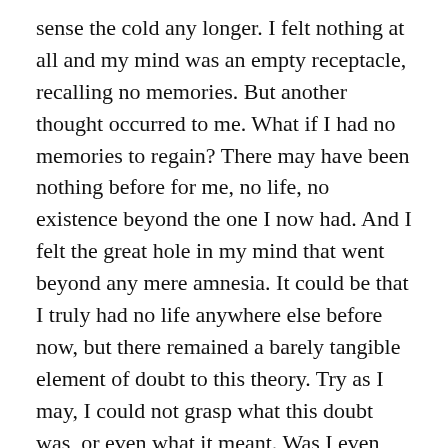sense the cold any longer. I felt nothing at all and my mind was an empty receptacle, recalling no memories. But another thought occurred to me. What if I had no memories to regain? There may have been nothing before for me, no life, no existence beyond the one I now had. And I felt the great hole in my mind that went beyond any mere amnesia. It could be that I truly had no life anywhere else before now, but there remained a barely tangible element of doubt to this theory. Try as I may, I could not grasp what this doubt was, or even what it meant. Was I even supposed to? Was this new existence I found myself in a riddle to be solved? No answers came and I could gain no new insight. Perhaps it would come to me as I went on.
Now there was only one purpose to why I was walking, and that was the simple act of motion itself, a compulsion to keep moving. I strode through the